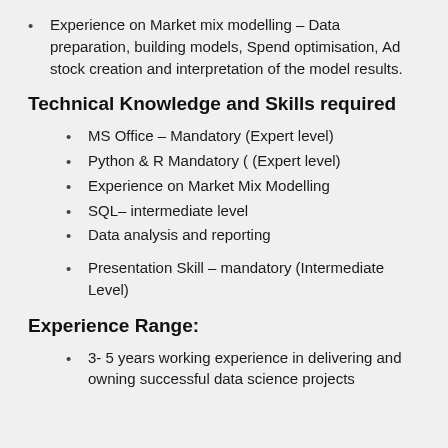Experience on Market mix modelling – Data preparation, building models, Spend optimisation, Ad stock creation and interpretation of the model results.
Technical Knowledge and Skills required
MS Office – Mandatory (Expert level)
Python & R Mandatory ( (Expert level)
Experience on Market Mix Modelling
SQL– intermediate level
Data analysis and reporting
Presentation Skill – mandatory (Intermediate Level)
Experience Range:
3- 5 years working experience in delivering and owning successful data science projects